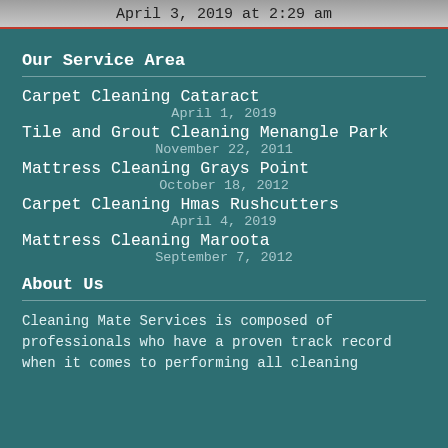April 3, 2019 at 2:29 am
Our Service Area
Carpet Cleaning Cataract
April 1, 2019
Tile and Grout Cleaning Menangle Park
November 22, 2011
Mattress Cleaning Grays Point
October 18, 2012
Carpet Cleaning Hmas Rushcutters
April 4, 2019
Mattress Cleaning Maroota
September 7, 2012
About Us
Cleaning Mate Services is composed of professionals who have a proven track record when it comes to performing all cleaning